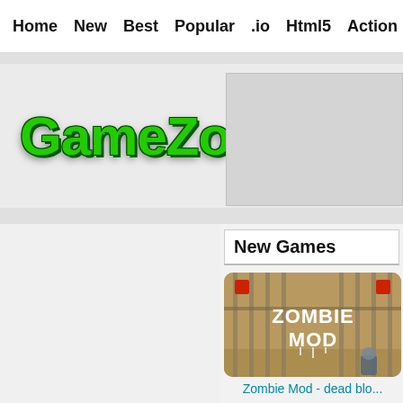Home  New  Best  Popular  .io  Html5  Action  Funny  Classic  S
[Figure (logo): GameZoo.net logo in green bold pixel-style font on gray background]
New Games
[Figure (screenshot): Zombie Mod - dead blo... game thumbnail showing prison bars with ZOMBIE MOD text]
Zombie Mod - dead blo...
[Figure (screenshot): Impos... game thumbnail partially visible showing cartoon red alien character]
Impos